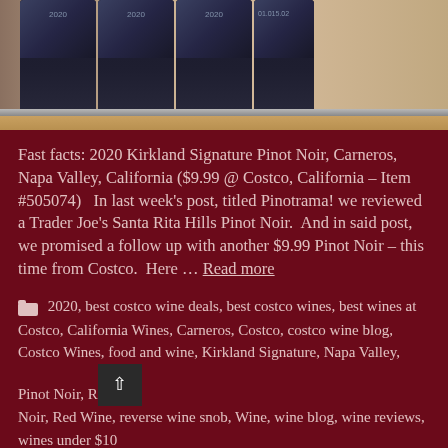[Figure (photo): Photo of dark wine bottles in wooden shelf rack, viewed from above/front, with blue-black capsules and light text on top]
Fast facts: 2020 Kirkland Signature Pinot Noir, Carneros, Napa Valley, California ($9.99 @ Costco, California – Item #505074)   In last week's post, titled Pinotrama! we reviewed a Trader Joe's Santa Rita Hills Pinot Noir.  And in said post, we promised a follow up with another $9.99 Pinot Noir – this time from Costco.  Here … Read more
2020, best costco wine deals, best costco wines, best wines at Costco, California Wines, Carneros, Costco, costco wine blog, Costco Wines, food and wine, Kirkland Signature, Napa Valley, Pinot Noir, Red Noir, Red Wine, reverse wine snob, Wine, wine blog, wine reviews, wines under $10